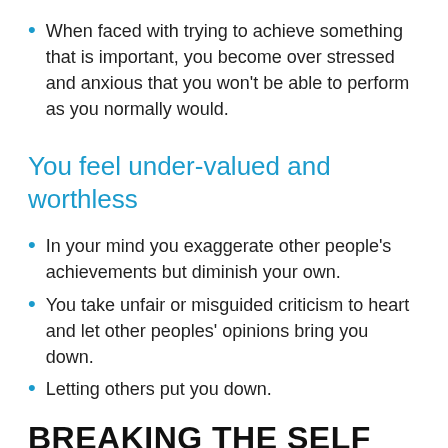When faced with trying to achieve something that is important, you become over stressed and anxious that you won't be able to perform as you normally would.
You feel under-valued and worthless
In your mind you exaggerate other people's achievements but diminish your own.
You take unfair or misguided criticism to heart and let other peoples' opinions bring you down.
Letting others put you down.
BREAKING THE SELF SABOTAGING CYCLE